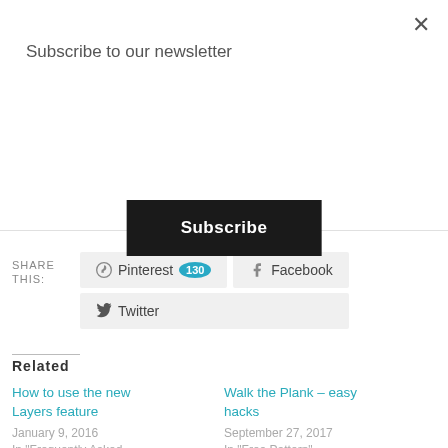Subscribe to our newsletter
Subscribe
SHARE THIS:
Pinterest 130
Facebook
Twitter
Related
How to use the new Layers feature
January 9, 2016
In "Frequently Asked Questions"
Walk the Plank – easy hacks
September 27, 2017
In "Free Pattern"
How to Measure Yourself
February 8, 2016